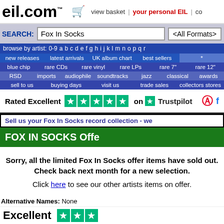eil.com™  view basket | your personal EIL | co
SEARCH: Fox In Socks <All Formats>
browse by artist: 0-9 a b c d e f g h i j k l m n o p q r
new releases  latest arrivals  UK album chart  best sellers
blue chip  rare CDs  rare vinyl  rare LPs  rare 7"  rare 12"
RSD  imports  audiophile  soundtracks  jazz  classical  awards
sell to us  buying days  visit us  trade sales  collectors stores
[Figure (other): Rated Excellent 5 stars on Trustpilot logo with Pinterest and Facebook icons]
Sell us your Fox In Socks record collection - we
FOX IN SOCKS Offe
Sorry, all the limited Fox In Socks offer items have sold out. Check back next month for a new selection.

Click here to see our other artists items on offer.
Alternative Names: None
Related Artists:
Related Music Genres: New Wave
FOX IN SOCKS Vinyl Record Discography & FOX IN SOCKS CD Discography
Excellent ★★★